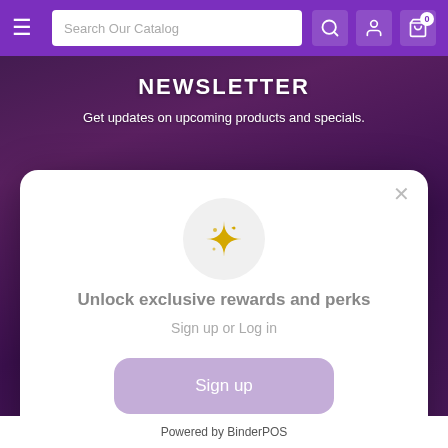Search Our Catalog [search] [account] [cart 0]
NEWSLETTER
Get updates on upcoming products and specials.
[Figure (other): Sparkle star icon inside a light gray circle]
Unlock exclusive rewards and perks
Sign up or Log in
Sign up
Already have an account? Sign in
Powered by BinderPOS